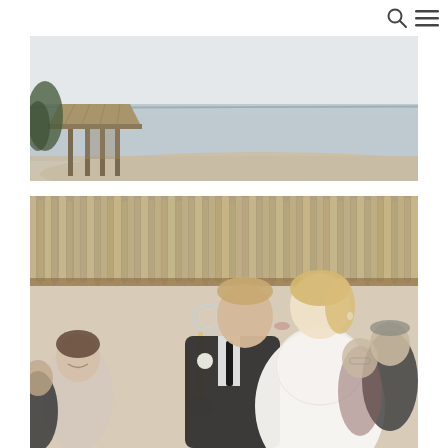[search icon] [menu icon]
[Figure (photo): A beach scene with a thatched-roof gazebo or pier structure on the left side, sandy shore, and calm water extending to the horizon under an overcast sky.]
[Figure (photo): A wedding kiss photo with a groom in a black suit and bride in a white lace dress kissing under a thatched roof. Guests are visible on both sides; a soap bubble floats on the left side. Outdoor wedding ceremony setting.]